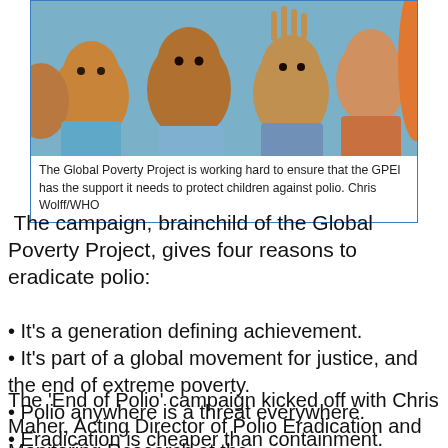[Figure (photo): Group of children smiling and waving at the camera, outdoor setting]
The Global Poverty Project is working hard to ensure that the GPEI has the support it needs to protect children against polio. Chris Wolff/WHO
The campaign, brainchild of the Global Poverty Project, gives four reasons to eradicate polio:
It's a generation defining achievement.
It's part of a global movement for justice, and the end of extreme poverty.
Polio anywhere is a threat everywhere.
Eradication is cheaper than containment.
The 'End of Polio' campaign kicked off with Chris Maher, Acting Director of Polio Eradication and Monitoring Research at the